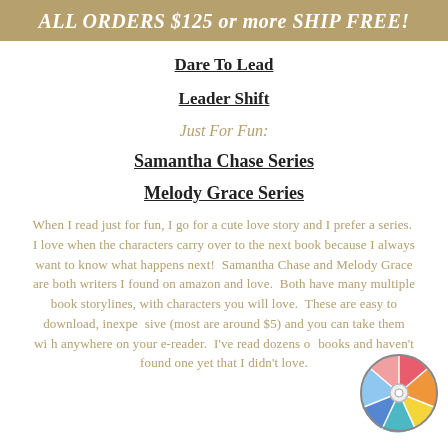ALL ORDERS $125 or more SHIP FREE!
Dare To Lead
Leader Shift
Just For Fun:
Samantha Chase Series
Melody Grace Series
When I read just for fun, I go for a cute love story and I prefer a series.  I love when the characters carry over to the next book because I always want to know what happens next!  Samantha Chase and Melody Grace are both writers I found on amazon and love.  Both have many multiple book storylines, with characters you will love.  These are easy to download, inexpensive (most are around $5) and you can take them with you anywhere on your e-reader.  I've read dozens of their books and haven't found one yet that I didn't love.
[Figure (illustration): Colorful spinning wheel/prize wheel icon in bottom right corner]